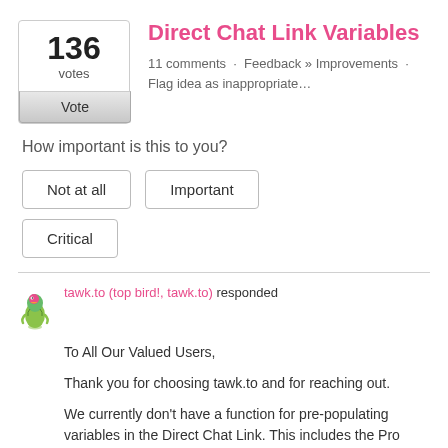Direct Chat Link Variables
136 votes · 11 comments · Feedback » Improvements · Flag idea as inappropriate…
How important is this to you?
Not at all
Important
Critical
tawk.to (top bird!, tawk.to) responded
To All Our Valued Users,
Thank you for choosing tawk.to and for reaching out.
We currently don't have a function for pre-populating variables in the Direct Chat Link. This includes the Pro Chat Form.